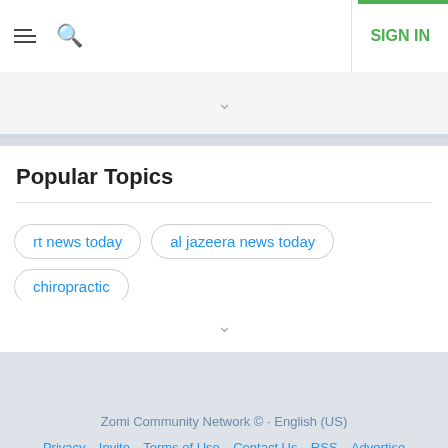SIGN IN
Popular Topics
rt news today
al jazeera news today
chiropractic
Zomi Community Network © · English (US)
Privacy · Invite · Terms of Use · Contact Us · RSS · Advertise